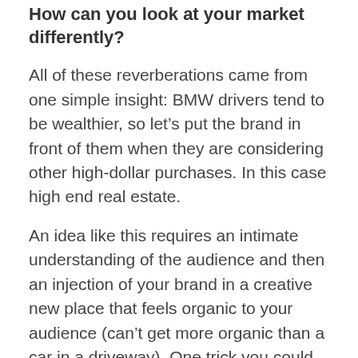How can you look at your market differently?
All of these reverberations came from one simple insight: BMW drivers tend to be wealthier, so let’s put the brand in front of them when they are considering other high-dollar purchases. In this case high end real estate.
An idea like this requires an intimate understanding of the audience and then an injection of your brand in a creative new place that feels organic to your audience (can’t get more organic than a car in a driveway). One trick you could try is to have your media folks do a Simmons or MRI run on your audience’s profile. Have them find other brands and activities that index highly against your audience. Might spur some ideas.
Speaking of which, the other ingredient an idea like this